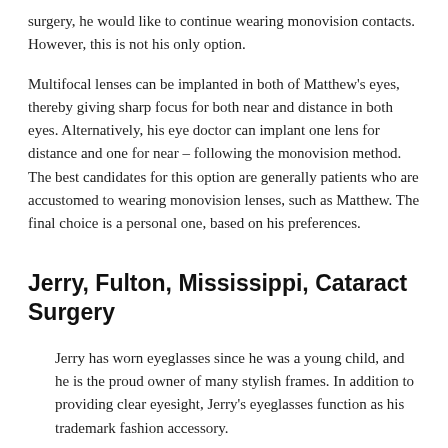surgery, he would like to continue wearing monovision contacts. However, this is not his only option.
Multifocal lenses can be implanted in both of Matthew's eyes, thereby giving sharp focus for both near and distance in both eyes. Alternatively, his eye doctor can implant one lens for distance and one for near – following the monovision method. The best candidates for this option are generally patients who are accustomed to wearing monovision lenses, such as Matthew. The final choice is a personal one, based on his preferences.
Jerry, Fulton, Mississippi, Cataract Surgery
Jerry has worn eyeglasses since he was a young child, and he is the proud owner of many stylish frames. In addition to providing clear eyesight, Jerry's eyeglasses function as his trademark fashion accessory.
After cataract surgery, he is a good candidate for basic single focus lens implants. These implants will improve Jerry's visual acuity without eyeglasses, yet he will still need eyewear to focus well on